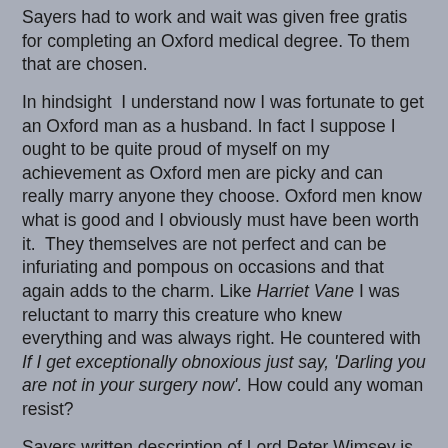Sayers had to work and wait was given free gratis for completing an Oxford medical degree. To them that are chosen.
In hindsight I understand now I was fortunate to get an Oxford man as a husband. In fact I suppose I ought to be quite proud of myself on my achievement as Oxford men are picky and can really marry anyone they choose. Oxford men know what is good and I obviously must have been worth it. They themselves are not perfect and can be infuriating and pompous on occasions and that again adds to the charm. Like Harriet Vane I was reluctant to marry this creature who knew everything and was always right. He countered with If I get exceptionally obnoxious just say, 'Darling you are not in your surgery now'. How could any woman resist?
Sayers written description of Lord Peter Wimsey is bang on but both TV offerings are not quite right. The problem is that both gentlemen are actors and neither of them went to Oxford. Both although trying their best just do not have IT. They lack the charm, and most importantly the voice that is absolutely essential. Ian Carmichael hails from